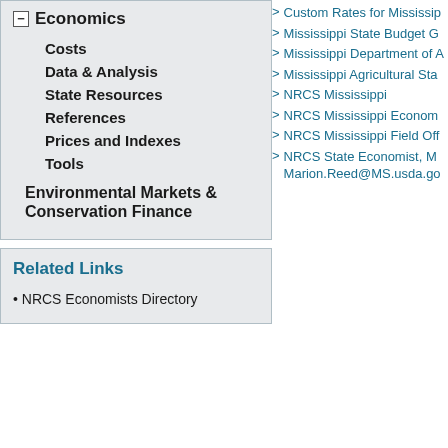Economics
Costs
Data & Analysis
State Resources
References
Prices and Indexes
Tools
Environmental Markets & Conservation Finance
Related Links
NRCS Economists Directory
> Custom Rates for Mississippi
> Mississippi State Budget G
> Mississippi Department of A
> Mississippi Agricultural Sta
> NRCS Mississippi
> NRCS Mississippi Econom
> NRCS Mississippi Field Off
> NRCS State Economist, M Marion.Reed@MS.usda.go